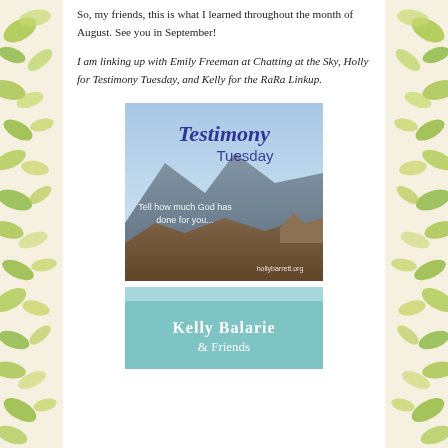So, my friends, this is what I learned throughout the month of August. See you in September!
I am linking up with Emily Freeman at Chatting at the Sky, Holly for Testimony Tuesday, and Kelly for the RaRa Linkup.
[Figure (illustration): Testimony Tuesday badge with mountain landscape background and text 'Tell how much God has done for you...' and 'hollybarrett.org']
[Figure (illustration): Kelly Balarie & Friends teal/mint colored badge]